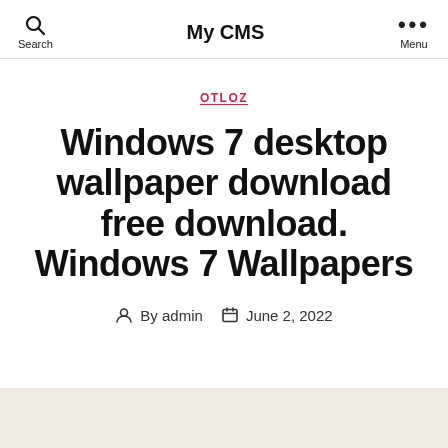My CMS
OTLOZ
Windows 7 desktop wallpaper download free download. Windows 7 Wallpapers
By admin   June 2, 2022